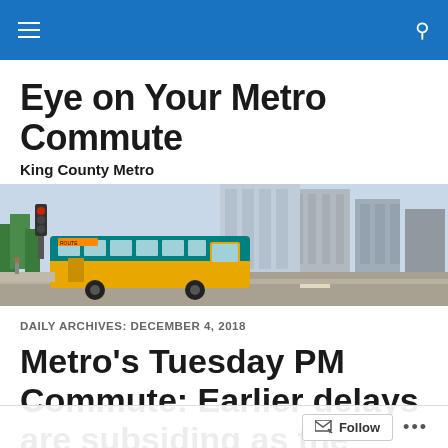Eye on Your Metro Commute — King County Metro
Eye on Your Metro Commute
King County Metro
[Figure (photo): A King County Metro bus (teal and yellow) driving through a downtown Seattle street intersection, with modern glass buildings in the background.]
DAILY ARCHIVES: DECEMBER 4, 2018
Metro's Tuesday PM Commute: Earlier delays are subsiding as the evening commute...